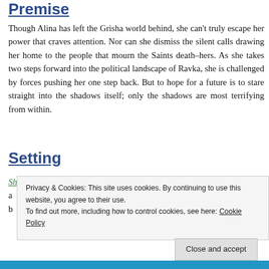Premise
Though Alina has left the Grisha world behind, she can't truly escape her power that craves attention. Nor can she dismiss the silent calls drawing her home to the people that mourn the Saints death–hers. As she takes two steps forward into the political landscape of Ravka, she is challenged by forces pushing her one step back. But to hope for a future is to stare straight into the shadows itself; only the shadows are most terrifying from within.
Setting
Shadow and Bone is like a Belgian waffle–dense with lore a... b... l...
Privacy & Cookies: This site uses cookies. By continuing to use this website, you agree to their use. To find out more, including how to control cookies, see here: Cookie Policy
Close and accept